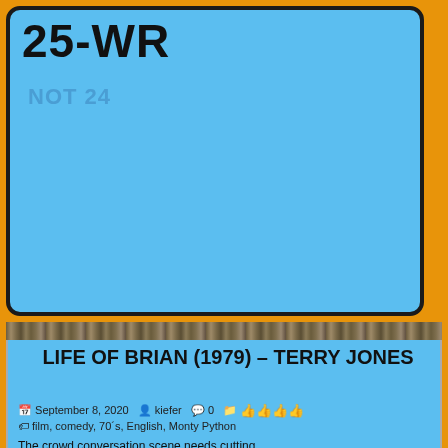25-WR
NOT 24
[Figure (screenshot): Blue card/panel with title 25-WR and subtitle NOT 24, followed by a rocky texture strip]
LIFE OF BRIAN (1979) – TERRY JONES
September 8, 2020  kiefer  0  👍👍👍👍
film, comedy, 70´s, English, Monty Python
The crowd conversation scene needs cutting